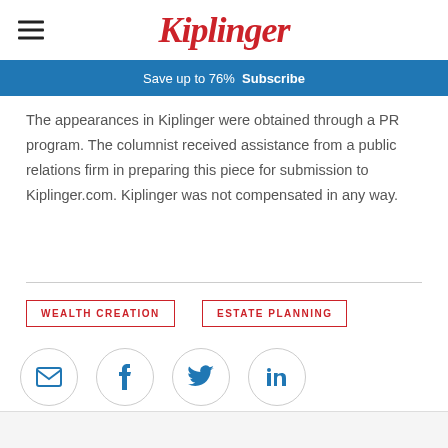Kiplinger
Save up to 76%  Subscribe
The appearances in Kiplinger were obtained through a PR program. The columnist received assistance from a public relations firm in preparing this piece for submission to Kiplinger.com. Kiplinger was not compensated in any way.
WEALTH CREATION
ESTATE PLANNING
[Figure (infographic): Four social sharing icons in circles: email (envelope), Facebook (f), Twitter (bird), LinkedIn (in)]